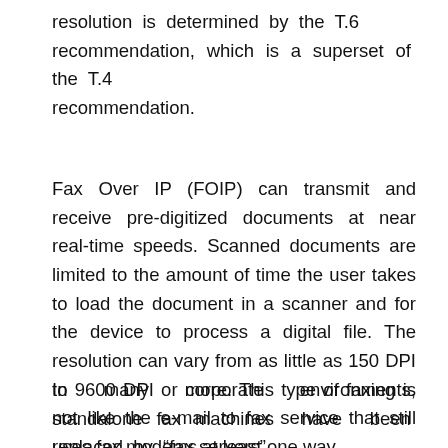resolution is determined by the T.6 recommendation, which is a superset of the T.4 recommendation.
Fax Over IP (FOIP) can transmit and receive pre-digitized documents at near real-time speeds. Scanned documents are limited to the amount of time the user takes to load the document in a scanner and for the device to process a digital file. The resolution can vary from as little as 150 DPI to 9600 DPI or more. This type of faxing is not like the e-mail to fax service that still uses fax modems at least one way.
In many corporate environments, standalone fax machines have been replaced by “fax servers”